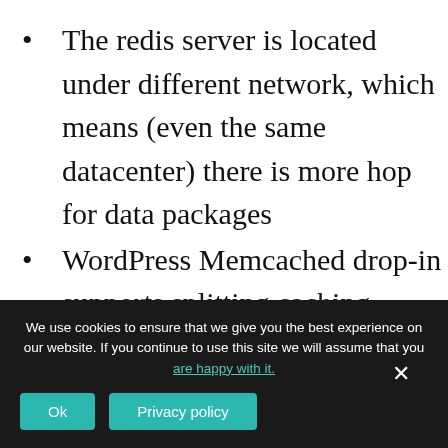The redis server is located under different network, which means (even the same datacenter) there is more hop for data packages
WordPress Memcached drop-in supports splitting caching groups the different Memcache instances, which is great because “options” is the most critical
We use cookies to ensure that we give you the best experience on our website. If you continue to use this site we will assume that you are happy with it.